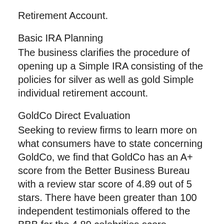Retirement Account.
Basic IRA Planning
The business clarifies the procedure of opening up a Simple IRA consisting of the policies for silver as well as gold Simple individual retirement account.
GoldCo Direct Evaluation
Seeking to review firms to learn more on what consumers have to state concerning GoldCo, we find that GoldCo has an A+ score from the Better Business Bureau with a review star score of 4.89 out of 5 stars. There have been greater than 100 independent testimonials offered to the BBB for the 4.89 celebrities score.